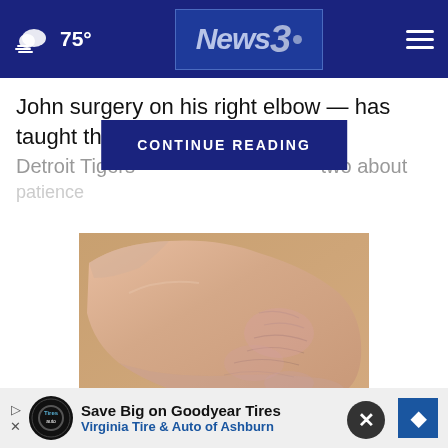75° News3. [hamburger menu]
John surgery on his right elbow — has taught the
Detroit Tigers                                     two about
patience
CONTINUE READING
[Figure (photo): Close-up photo of the sole of a human foot showing dry, cracked, scaly skin characteristic of plaque psoriasis, photographed against a tan/beige background.]
What Causes Plaque Psoriasis: It`s
Save Big on Goodyear Tires
Virginia Tire & Auto of Ashburn